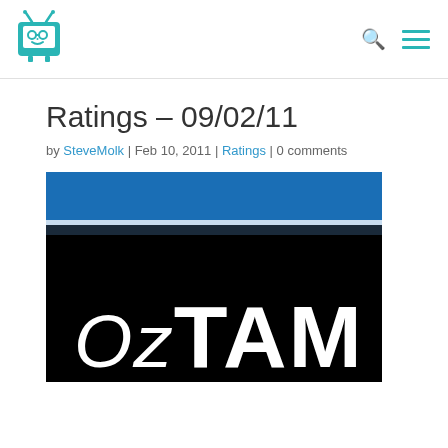[Figure (logo): TV website logo — cartoon TV face icon in teal/green color]
Ratings – 09/02/11
by SteveMolk | Feb 10, 2011 | Ratings | 0 comments
[Figure (photo): OzTAM logo — white text on black background with blue band at top]